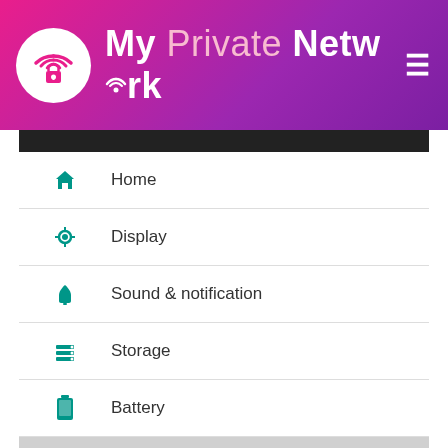[Figure (screenshot): My Private Network VPN app header with logo showing WiFi and lock icon, title 'My Private Network', and hamburger menu icon on purple/pink gradient background. Below is an Android settings menu screenshot showing: Home, Display, Sound & notification, Storage, Battery, Apps (highlighted/selected), Users menu items with teal icons. Bottom navigation bar with back, home, and recent buttons.]
Then, the full list of the downloaded app should appear.